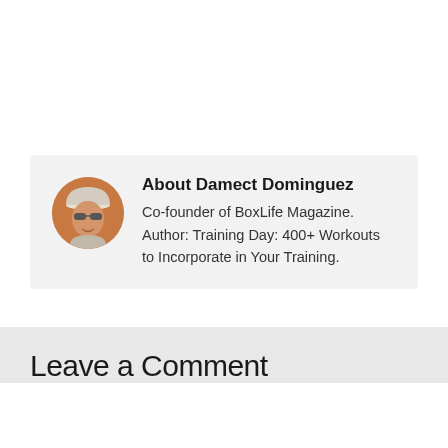[Figure (other): Author bio box with circular avatar photo of Damect Dominguez wearing a cap, on a light gray background]
About Damect Dominguez
Co-founder of BoxLife Magazine. Author: Training Day: 400+ Workouts to Incorporate in Your Training.
Leave a Comment